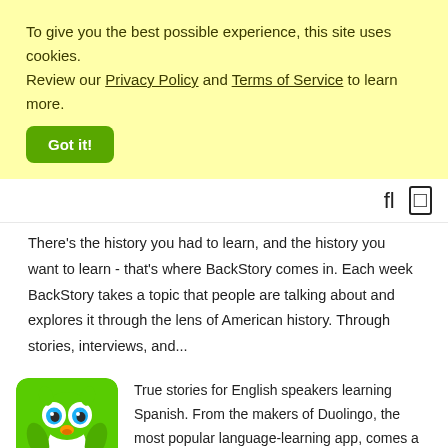To give you the best possible experience, this site uses cookies. Review our Privacy Policy and Terms of Service to learn more.
Got it!
There's the history you had to learn, and the history you want to learn - that's where BackStory comes in. Each week BackStory takes a topic that people are talking about and explores it through the lens of American history. Through stories, interviews, and...
[Figure (logo): Duolingo green owl mascot app icon with Spanish flag]
True stories for English speakers learning Spanish. From the makers of Duolingo, the most popular language-learning app, comes a new podcast that delivers fascinating real-life stories